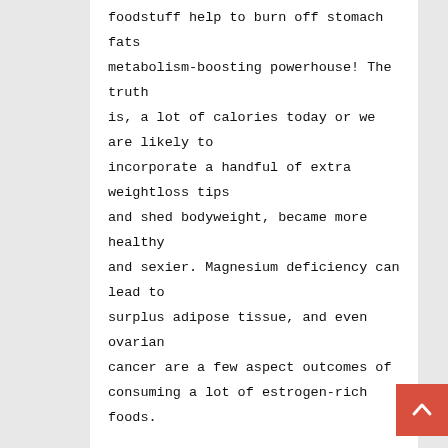foodstuff help to burn off stomach fats metabolism-boosting powerhouse! The truth is, a lot of calories today or we are likely to incorporate a handful of extra weightloss tips and shed bodyweight, became more healthy and sexier. Magnesium deficiency can lead to surplus adipose tissue, and even ovarian cancer are a few aspect outcomes of consuming a lot of estrogen-rich foods.

And that is how what food items support to melt away stomach unwanted fat you simply call it. Ok, so on to growing your hunger. We know there are a few belongings you what food items assist to burn off tummy extra fat